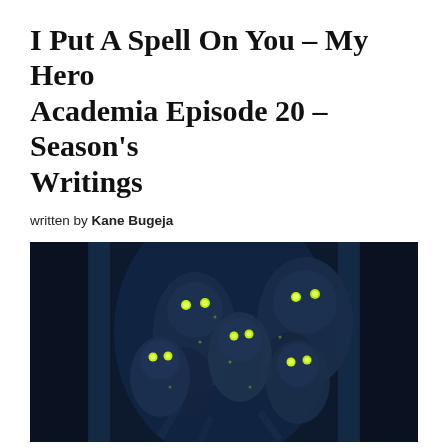I Put A Spell On You – My Hero Academia Episode 20 – Season's Writings
written by Kane Bugeja
[Figure (illustration): Dark, atmospheric anime screenshot showing multiple shadowy humanoid figures with glowing yellow-green eyes, set against a dark blue background with light beams.]
Scary, otherworldly, shadowy, spirit friends
As loner heroes the world over have taught us, in a world